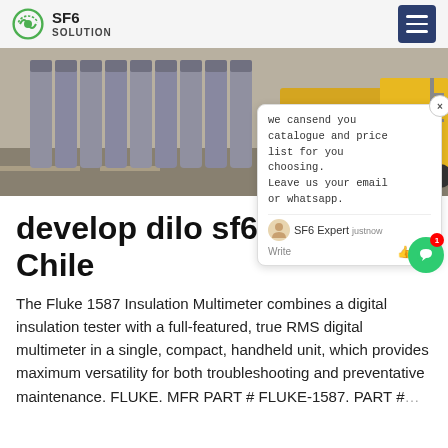SF6 SOLUTION
[Figure (photo): Row of large gray gas cylinders standing vertically on pavement next to a yellow utility truck. Text 'na' visible in orange on right side.]
develop dilo sf6 m... Chile
The Fluke 1587 Insulation Multimeter combines a digital insulation tester with a full-featured, true RMS digital multimeter in a single, compact, handheld unit, which provides maximum versatility for both troubleshooting and preventative maintenance. FLUKE. MFR PART # FLUKE-1587. PART #...